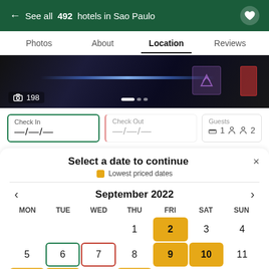← See all 492 hotels in Sao Paulo
Photos  About  Location  Reviews
[Figure (photo): Hotel lobby interior photo with blue lighting and counter]
Check In —/—/—    Check Out —/—/—    Guests 🛏 1 👤 2
Select a date to continue
Lowest priced dates
September 2022
MON TUE WED THU FRI SAT SUN
| MON | TUE | WED | THU | FRI | SAT | SUN |
| --- | --- | --- | --- | --- | --- | --- |
|  |  |  | 1 | 2 | 3 | 4 |
| 5 | 6 | 7 | 8 | 9 | 10 | 11 |
| 12 | 13 | 14 | 15 | 16 | 17 | 18 |